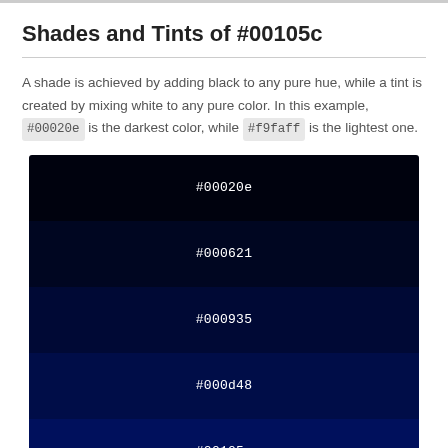Shades and Tints of #00105c
A shade is achieved by adding black to any pure hue, while a tint is created by mixing white to any pure color. In this example, #00020e is the darkest color, while #f9faff is the lightest one.
[Figure (infographic): Color swatches showing shades of #00105c from darkest to lightest: #00020e, #000621, #000935, #000d48, #00105c]